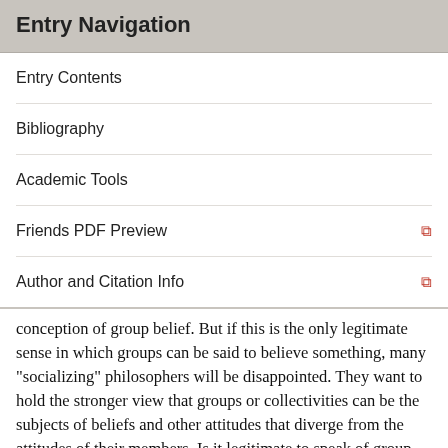Entry Navigation
Entry Contents
Bibliography
Academic Tools
Friends PDF Preview
Author and Citation Info
conception of group belief. But if this is the only legitimate sense in which groups can be said to believe something, many "socializing" philosophers will be disappointed. They want to hold the stronger view that groups or collectivities can be the subjects of beliefs and other attitudes that diverge from the attitudes of their members. Is it legitimate to speak of group beliefs in this more challenging, non-summative conception?
Philip Pettit (2003) defends the view that groups are subjects of propositional attitudes in the non-summative